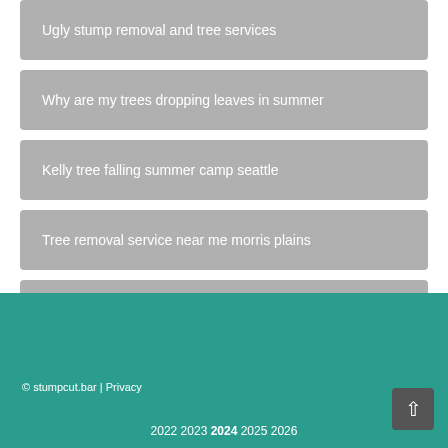Ugly stump removal and tree services
Why are my trees dropping leaves in summer
Kelly tree falling summer camp seattle
Tree removal service near me morris plains
Tree removal services vaughan
© stumpcut.bar | Privacy
2022 2023 2024 2025 2026